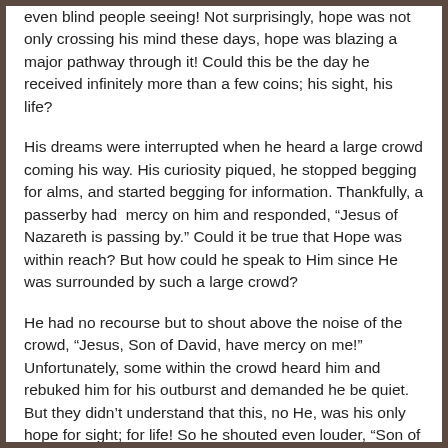even blind people seeing!  Not surprisingly, hope was not only crossing his mind these days, hope was blazing a major pathway through it!  Could this be the day he received infinitely more than a few coins; his sight, his life?
His dreams were interrupted when he heard a large crowd coming his way.  His curiosity piqued, he stopped begging for alms, and started begging for information.  Thankfully, a passerby had  mercy on him and responded, “Jesus of Nazareth is passing by.”  Could it be true that Hope was within reach?  But how could he speak to Him since He was surrounded by such a large crowd?
He had no recourse but to shout above the noise of the crowd, “Jesus, Son of David, have mercy on me!”  Unfortunately, some within the crowd heard him and rebuked him for his outburst and demanded he be quiet.  But they didn’t understand that this, no He, was his only hope for sight; for life!  So he shouted even louder, “Son of David, have mercy on me!”
Hope heard and Hope stopped!  Those who had just chided